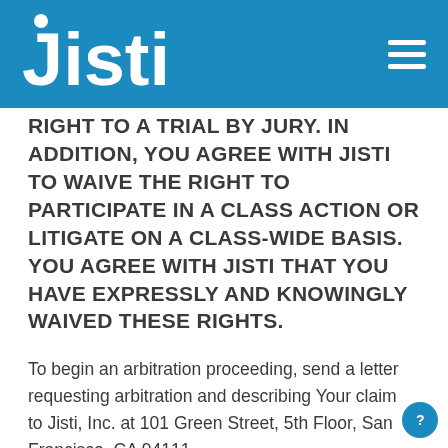Jisti
RIGHT TO A TRIAL BY JURY.  IN ADDITION, YOU AGREE WITH JISTI TO WAIVE THE RIGHT TO PARTICIPATE IN A CLASS ACTION OR LITIGATE ON A CLASS-WIDE BASIS.  YOU AGREE WITH JISTI THAT YOU HAVE EXPRESSLY AND KNOWINGLY WAIVED THESE RIGHTS.
To begin an arbitration proceeding, send a letter requesting arbitration and describing Your claim to Jisti, Inc. at 101 Green Street, 5th Floor, San Francisco, CA 94111